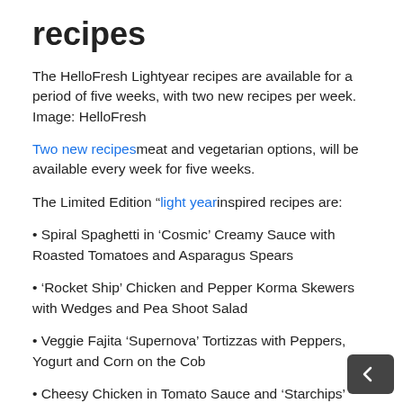recipes
The HelloFresh Lightyear recipes are available for a period of five weeks, with two new recipes per week. Image: HelloFresh
Two new recipesmeat and vegetarian options, will be available every week for five weeks.
The Limited Edition “light yearinspired recipes are:
• Spiral Spaghetti in ‘Cosmic’ Creamy Sauce with Roasted Tomatoes and Asparagus Spears
• ‘Rocket Ship’ Chicken and Pepper Korma Skewers with Wedges and Pea Shoot Salad
• Veggie Fajita ‘Supernova’ Tortizzas with Peppers, Yogurt and Corn on the Cob
• Cheesy Chicken in Tomato Sauce and ‘Starchips’ With